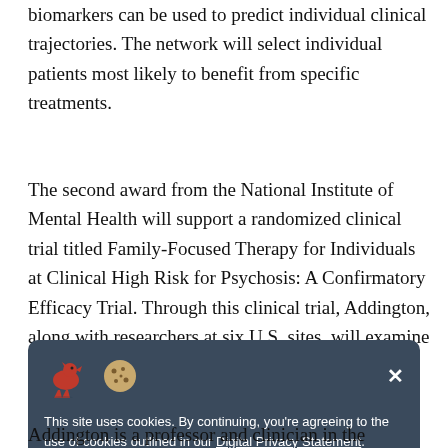biomarkers can be used to predict individual clinical trajectories. The network will select individual patients most likely to benefit from specific treatments.
The second award from the National Institute of Mental Health will support a randomized clinical trial titled Family-Focused Therapy for Individuals at Clinical High Risk for Psychosis: A Confirmatory Efficacy Trial. Through this clinical trial, Addington, along with researchers at six U.S. sites, will examine whether an intensive six-month family intervention is more effective for improving symptoms and family outcome than a package of family psychoeducation
[Figure (other): Cookie consent banner with a dinosaur and cookie emoji icons, close button (×), and text: 'This site uses cookies. By continuing, you're agreeing to the use of cookies outlined in our Digital Privacy Statement.']
Addington is a professor and clinician in the Department of